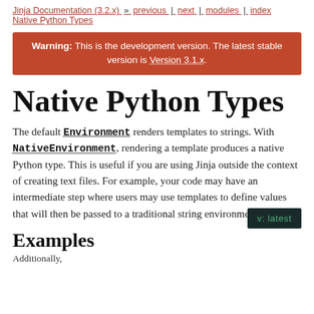Jinja Documentation (3.2.x) » previous | next | modules | index Native Python Types
Warning: This is the development version. The latest stable version is Version 3.1.x.
Native Python Types
The default Environment renders templates to strings. With NativeEnvironment, rendering a template produces a native Python type. This is useful if you are using Jinja outside the context of creating text files. For example, your code may have an intermediate step where users may use templates to define values that will then be passed to a traditional string environment.
Examples
Additionally,
v: latest